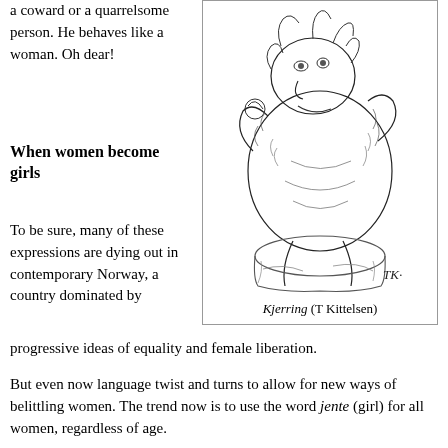a coward or a quarrelsome person. He behaves like a woman. Oh dear!
When women become girls
To be sure, many of these expressions are dying out in contemporary Norway, a country dominated by progressive ideas of equality and female liberation.
[Figure (illustration): Black and white illustration of a troll-like creature, signed TK, by T Kittelsen]
Kjerring (T Kittelsen)
But even now language twist and turns to allow for new ways of belittling women. The trend now is to use the word jente (girl) for all women, regardless of age.
This could reflect the current desire for eternal youth, but it might also reflect an implicit idea that women are children, psychologically and mentally, til the day they die. You rarely